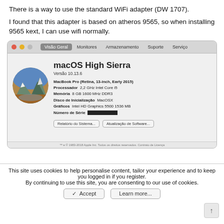There is a way to use the standard WiFi adapter (DW 1707).
I found that this adapter is based on atheros 9565, so when installing 9565 kext, I can use wifi normally.
[Figure (screenshot): macOS High Sierra 'About This Mac' window showing MacBook Pro (Retina, 13-inch, Early 2015), Processador 2,2 GHz Intel Core i5, Memória 8 GB 1600 MHz DDR3, Disco de Inicialização MacOSX, Gráficos Intel HD Graphics 5500 1536 MB, Número de Série redacted.]
This site uses cookies to help personalise content, tailor your experience and to keep you logged in if you register.
By continuing to use this site, you are consenting to our use of cookies.